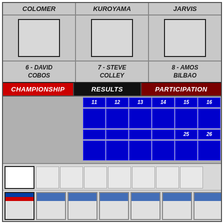| COLOMER | KUROYAMA | JARVIS |
| --- | --- | --- |
| [photo] | [photo] | [photo] |
| 6 - DAVID COBOS | 7 - STEVE COLLEY | 8 - AMOS BILBAO |
CHAMPIONSHIP | RESULTS | PARTICIPATION
[Figure (table-as-image): Blue grid with numbered columns 11-16 and rows of blue squares]
[Figure (other): Legend boxes and flag row at bottom]
WORLD
1997